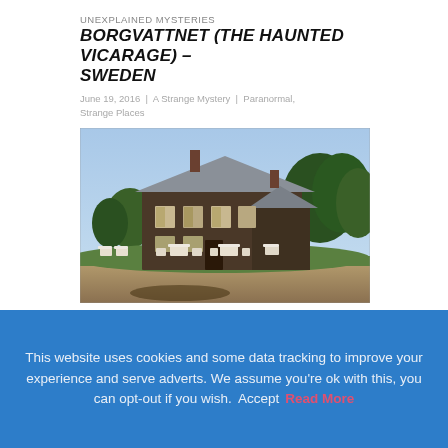UNEXPLAINED MYSTERIES
BORGVATTNET (THE HAUNTED VICARAGE) – SWEDEN
June 19, 2016  |  A Strange Mystery  |  Paranormal, Strange Places
[Figure (photo): Photograph of Borgvattnet vicarage, a large dark wooden house with metal roof, two chimneys, surrounded by trees, with white garden furniture on the lawn in front.]
This website uses cookies and some data tracking to improve your experience and serve adverts. We assume you're ok with this, you can opt-out if you wish.  Accept  Read More